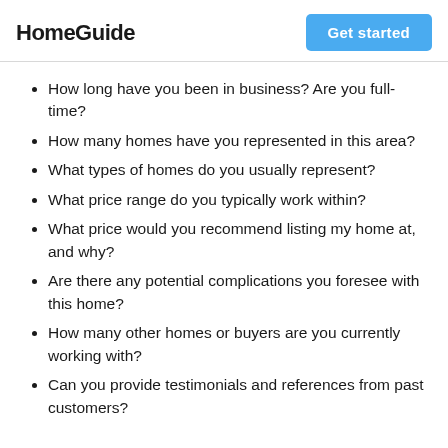HomeGuide
How long have you been in business? Are you full-time?
How many homes have you represented in this area?
What types of homes do you usually represent?
What price range do you typically work within?
What price would you recommend listing my home at, and why?
Are there any potential complications you foresee with this home?
How many other homes or buyers are you currently working with?
Can you provide testimonials and references from past customers?